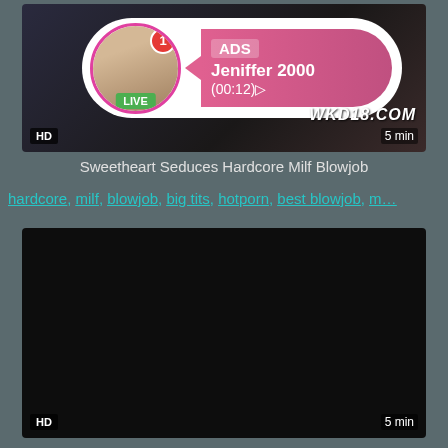[Figure (screenshot): Video thumbnail showing a dark scene with an ad overlay featuring a profile photo, LIVE badge, ADS label, name Jeniffer 2000, time (00:12), HD badge, 5 min duration, and WKD18.COM watermark]
Sweetheart Seduces Hardcore Milf Blowjob
hardcore, milf, blowjob, big tits, hotporn, best blowjob, m...
[Figure (screenshot): Dark video thumbnail with HD badge and 5 min duration label]